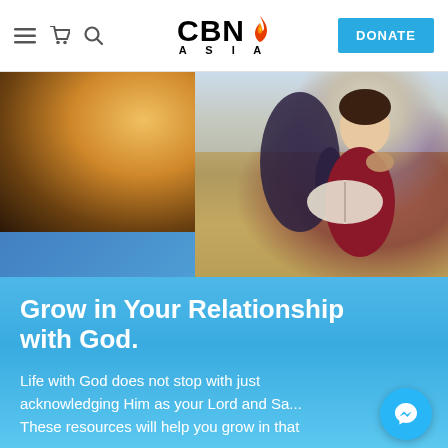CBN ASIA — navigation bar with menu, cart, search icons and DONATE button
[Figure (photo): Two overlapping images: left shows a warm golden mountain landscape with rays of light; right shows a child in a maroon shirt reading an open Bible held by an adult, standing in a field]
Grow in Your Relationship with God.
Life with God does not stop with just acknowledging Him as your Lord and Sa... These resources will help you grow in that